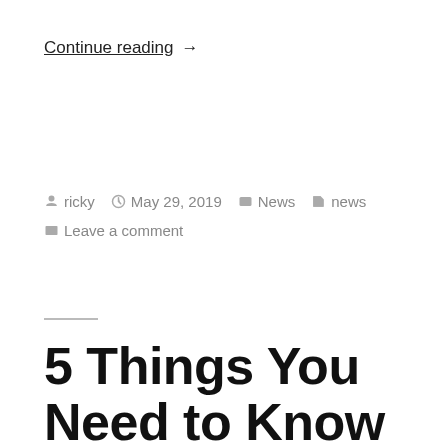Continue reading →
by ricky  May 29, 2019  News  news  Leave a comment
5 Things You Need to Know Before Opening